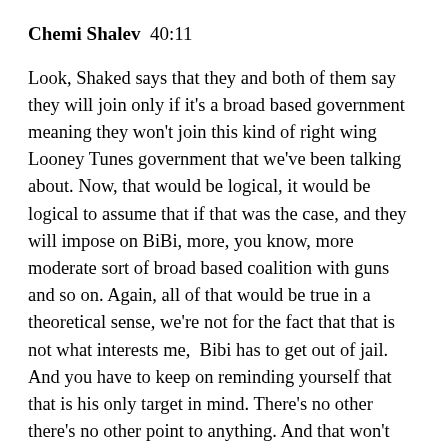Chemi Shalev  40:11
Look, Shaked says that they and both of them say they will join only if it's a broad based government meaning they won't join this kind of right wing Looney Tunes government that we've been talking about. Now, that would be logical, it would be logical to assume that if that was the case, and they will impose on BiBi, more, you know, more moderate sort of broad based coalition with guns and so on. Again, all of that would be true in a theoretical sense, we're not for the fact that that is not what interests me,  Bibi has to get out of jail. And you have to keep on reminding yourself that that is his only target in mind. There's no other there's no other point to anything. And that won't serve him. Shaked's coalition doesn't serve Bibi's interests. And so it's hard to see how it would happen. If he wouldn't have a choice maybe. But it's certainly not his